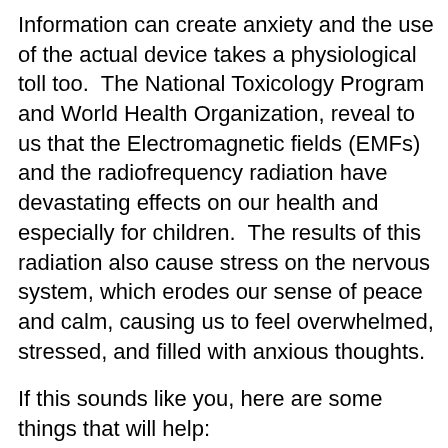Information can create anxiety and the use of the actual device takes a physiological toll too.  The National Toxicology Program and World Health Organization, reveal to us that the Electromagnetic fields (EMFs) and the radiofrequency radiation have devastating effects on our health and especially for children.  The results of this radiation also cause stress on the nervous system, which erodes our sense of peace and calm, causing us to feel overwhelmed, stressed, and filled with anxious thoughts.
If this sounds like you, here are some things that will help:
-Limit your child’s use of a smartphone or a tablet and do not let them hold it if they are watching it.  If they play a game make sure it’s on “airplane